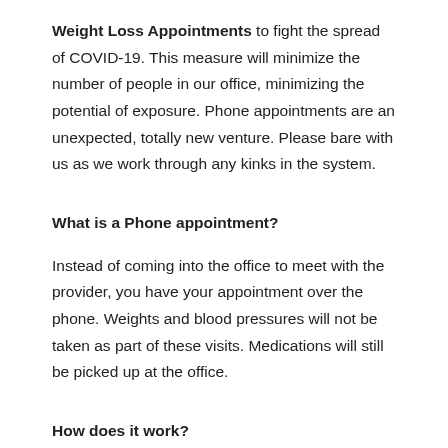Weight Loss Appointments to fight the spread of COVID-19. This measure will minimize the number of people in our office, minimizing the potential of exposure. Phone appointments are an unexpected, totally new venture. Please bare with us as we work through any kinks in the system.
What is a Phone appointment?
Instead of coming into the office to meet with the provider, you have your appointment over the phone. Weights and blood pressures will not be taken as part of these visits. Medications will still be picked up at the office.
How does it work?